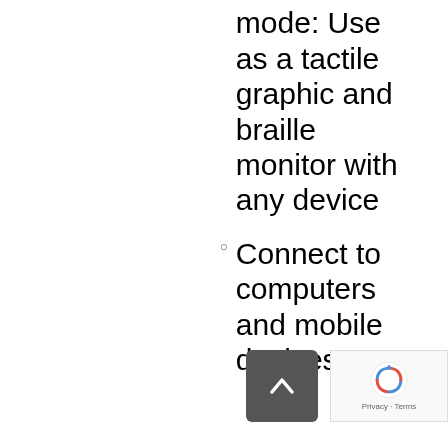Connected mode: Use as a tactile graphic and braille monitor with any device
Connect to computers and mobile devices